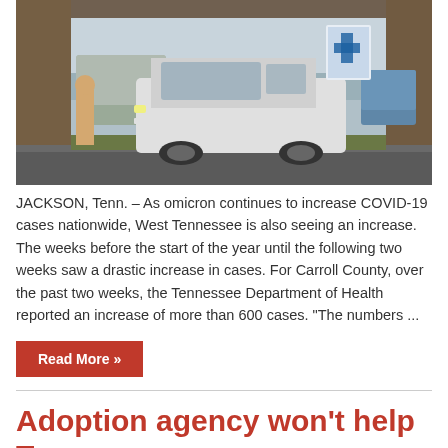[Figure (photo): Cars driving through a covered drive-through structure, likely a COVID-19 testing or vaccine site in Jackson, Tennessee.]
JACKSON, Tenn. – As omicron continues to increase COVID-19 cases nationwide, West Tennessee is also seeing an increase. The weeks before the start of the year until the following two weeks saw a drastic increase in cases. For Carroll County, over the past two weeks, the Tennessee Department of Health reported an increase of more than 600 cases. "The numbers ...
Read More »
Adoption agency won't help T...